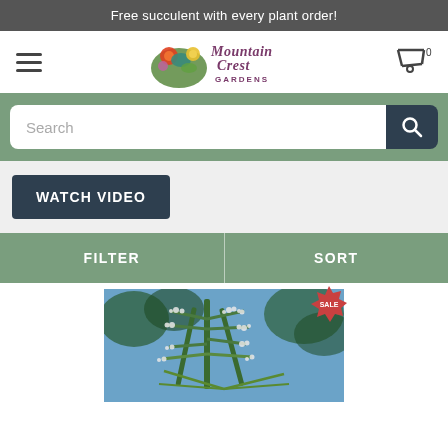Free succulent with every plant order!
[Figure (logo): Mountain Crest Gardens logo with colorful succulent illustration and script text]
Search
WATCH VIDEO
FILTER
SORT
[Figure (photo): Close-up photo of a spiky succulent or yucca-like plant with white fuzzy spines against a blue sky with trees. A red SALE badge is in the top right corner.]